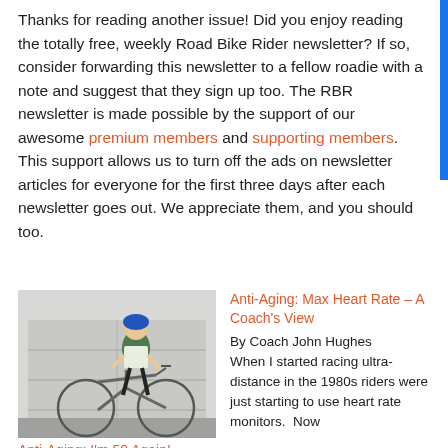Thanks for reading another issue! Did you enjoy reading the totally free, weekly Road Bike Rider newsletter? If so, consider forwarding this newsletter to a fellow roadie with a note and suggest that they sign up too. The RBR newsletter is made possible by the support of our awesome premium members and supporting members. This support allows us to turn off the ads on newsletter articles for everyone for the first three days after each newsletter goes out. We appreciate them, and you should too.
[Figure (photo): Photo of a cyclist in blue and white jersey standing with a mountain bike in front of a garage door]
Anti-Aging: I'm 50 Again!
Anti-Aging: Max Heart Rate – A Coach's View
By Coach John Hughes
When I started racing ultra-distance in the 1980s riders were just starting to use heart rate monitors. Now